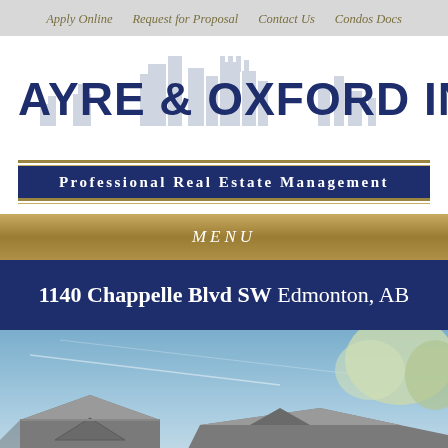Apply Online   Request for Proposal   Contact Us   Condos Docs
[Figure (logo): Ayre & Oxford Inc. logo with skyline silhouette and 'Professional Real Estate Management' tagline]
MENU
1140 Chappelle Blvd SW Edmonton, AB
[Figure (photo): Exterior photo of residential building rooftop with blue sky and trees]